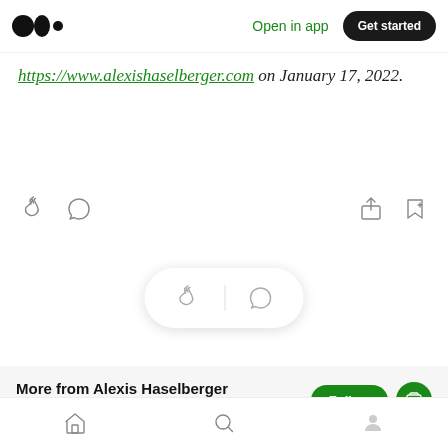Open in app | Get started
https://www.alexishaselberger.com on January 17, 2022.
[Figure (screenshot): Action bar with clap, comment, share, and bookmark icons]
[Figure (screenshot): Floating pill with clap and comment icons]
More from Alexis Haselberger
Helping you do more and stress less — www.alexishaselberger.com | Let's Talk!:
Home | Search | Profile